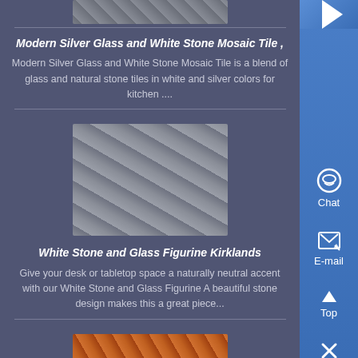[Figure (photo): Partial product image at top of page, industrial/stone tiles manufacturing scene]
Modern Silver Glass and White Stone Mosaic Tile ,
Modern Silver Glass and White Stone Mosaic Tile is a blend of glass and natural stone tiles in white and silver colors for kitchen ....
[Figure (photo): Industrial warehouse scene with stacked stone mosaic tile products on pallets]
White Stone and Glass Figurine Kirklands
Give your desk or tabletop space a naturally neutral accent with our White Stone and Glass Figurine A beautiful stone design makes this a great piece...
[Figure (photo): Industrial machinery with orange colored equipment, crushing/grinding machines]
[Figure (other): Right sidebar with Chat, E-mail, Top navigation buttons on blue background]